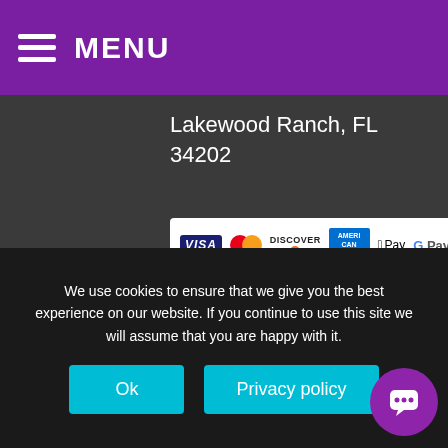MENU
Lakewood Ranch, FL
34202
[Figure (other): Payment method logos: VISA, MasterCard, DISCOVER, AMEX, Apple Pay, Google Pay]
LICENSE
[Figure (other): Teal phone call button (circular icon)]
Licensed State of Florida Certified Building Contractor,
We use cookies to ensure that we give you the best experience on our website. If you continue to use this site we will assume that you are happy with it.
[Figure (other): Ok button and Privacy policy button (cookie consent)]
[Figure (other): Purple chat bubble button (bottom right)]